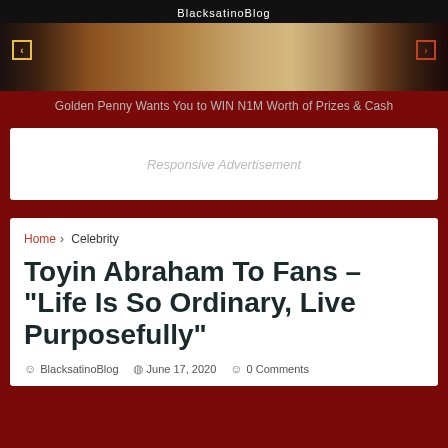BlacksatinoBlog
[Figure (photo): Partial photo of a person with a wooden/rattan object, dark background, with navigation arrows overlaid]
Golden Penny Wants You to WIN N1M Worth of Prizes & Cash
Responsive Advertisement
Home > Celebrity
Toyin Abraham To Fans – "Life Is So Ordinary, Live Purposefully"
BlacksatinoBlog   June 17, 2020   0 Comments